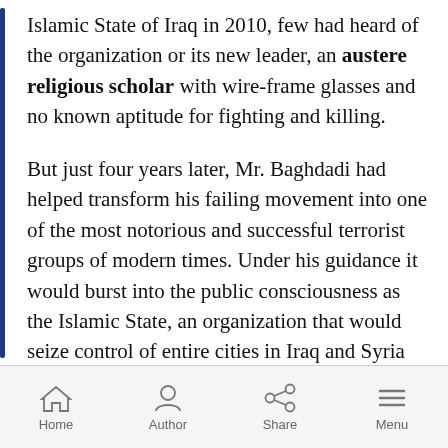Islamic State of Iraq in 2010, few had heard of the organization or its new leader, an austere religious scholar with wire-frame glasses and no known aptitude for fighting and killing.
But just four years later, Mr. Baghdadi had helped transform his failing movement into one of the most notorious and successful terrorist groups of modern times. Under his guidance it would burst into the public consciousness as the Islamic State, an organization that would seize control of entire cities in Iraq and Syria and become a byword for shocking brutality.